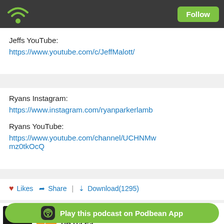Follow
Jeffs YouTube:
https://www.youtube.com/c/JeffMalott/
Ryans Instagram:
https://www.instagram.com/ryanparkerlam b
Ryans YouTube:
https://www.youtube.com/channel/UCHNMwmz0tkOcQ
❤ Likes  Share  |  ⬇ Download(1295)
July 6, 2022
Play this podcast on Podbean App